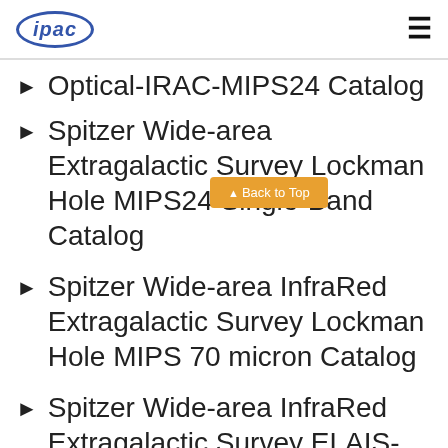ipac [logo] [hamburger menu]
Optical-IRAC-MIPS24 Catalog
Spitzer Wide-area Extragalactic Survey Lockman Hole MIPS24 Single-Band Catalog
Spitzer Wide-area InfraRed Extragalactic Survey Lockman Hole MIPS 70 micron Catalog
Spitzer Wide-area InfraRed Extragalactic Survey ELAIS-S1 MIPS24 Single-Band Catalog